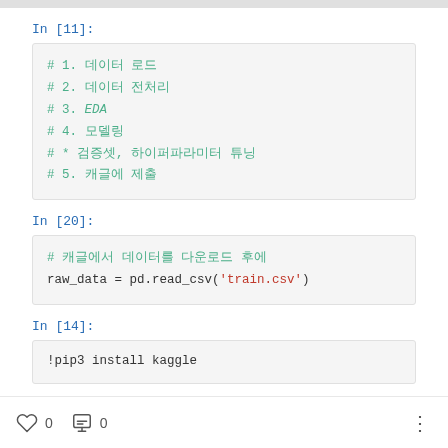In [11]:
# 1. 데이터 로드
# 2. 데이터 전처리
# 3. EDA
# 4. 모델링
# * 검증셋, 하이퍼파라미터 튜닝
# 5. 캐글에 제출
In [20]:
# 캐글에서 데이터를 다운로드 후에
raw_data = pd.read_csv('train.csv')
In [14]:
!pip3 install kaggle
0  0